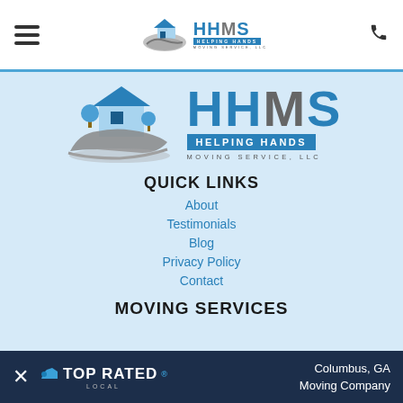HHMS Helping Hands Moving Service, LLC - Navigation bar
[Figure (logo): HHMS Helping Hands Moving Service LLC logo with hand holding house illustration and HHMS text]
QUICK LINKS
About
Testimonials
Blog
Privacy Policy
Contact
MOVING SERVICES
[Figure (logo): Top Rated Local badge with Columbus, GA Moving Company tagline on dark blue banner]